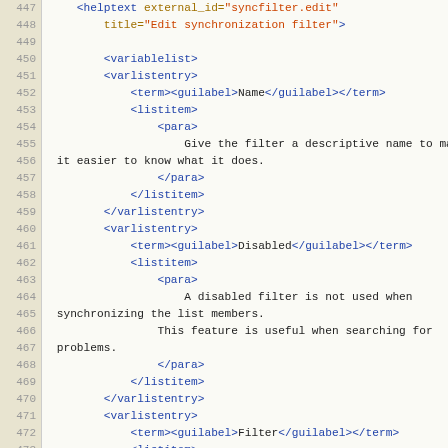[Figure (screenshot): Source code editor view showing XML/DocBook markup for lines 447-474, with line numbers in a tan/beige gutter on the left and syntax-highlighted code on the right. Tags are blue, attribute names are gold/brown, attribute values are orange-red, and plain text is dark/black.]